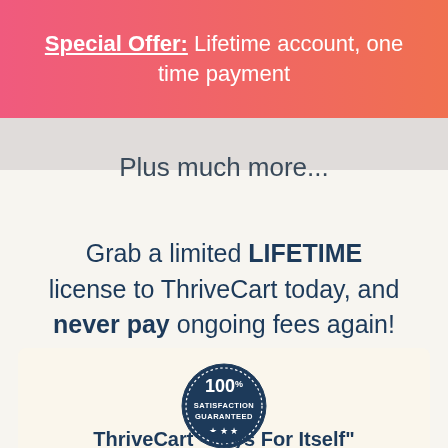Special Offer: Lifetime account, one time payment
Plus much more...
Grab a limited LIFETIME license to ThriveCart today, and never pay ongoing fees again!
[Figure (illustration): 100% Satisfaction Guaranteed badge — circular dark navy badge with dotted border, stars at bottom]
ThriveCart "Pays For Itself"